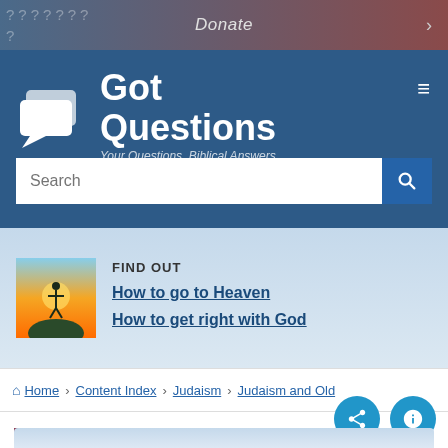Donate
[Figure (logo): GotQuestions logo with speech bubbles icon and tagline 'Your Questions. Biblical Answers.']
Search
FIND OUT
How to go to Heaven
How to get right with God
Home > Content Index > Judaism > Judaism and Old
QUESTION